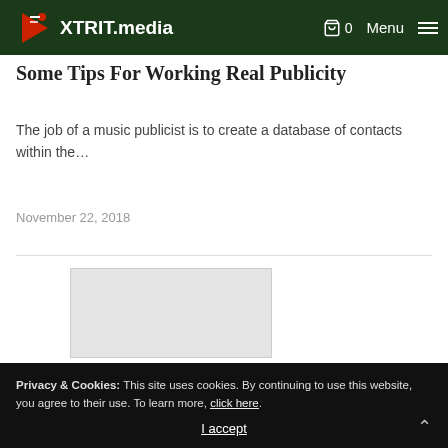XTRIT.media — Menu
Some Tips For Working With Publicity
The job of a music publicist is to create a database of contacts within the…
November 22, 2018
[Figure (other): Placeholder image area (partially visible)]
Privacy & Cookies: This site uses cookies. By continuing to use this website, you agree to their use. To learn more, click here.
I accept